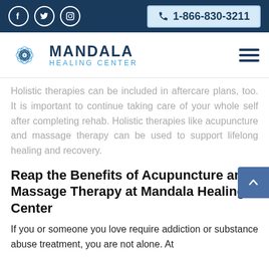📘 🐦 📷   📞 1-866-830-3211
[Figure (logo): Mandala Healing Center logo with mandala flower icon and navigation hamburger menu]
Holistic therapies can be included in aftercare plans, too. It is important to continue taking care of your whole self after completing rehab. Holistic therapies like acupuncture and massage therapy can be used to support lifelong healing and recovery.
Reap the Benefits of Acupuncture and Massage Therapy at Mandala Healing Center
If you or someone you love require addiction or substance abuse treatment, you are not alone. At